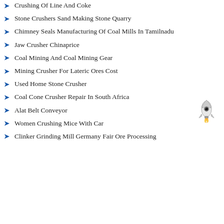Crushing Of Line And Coke
Stone Crushers Sand Making Stone Quarry
Chimney Seals Manufacturing Of Coal Mills In Tamilnadu
Jaw Crusher Chinaprice
Coal Mining And Coal Mining Gear
Mining Crusher For Lateric Ores Cost
Used Home Stone Crusher
Coal Cone Crusher Repair In South Africa
Alat Belt Conveyor
Women Crushing Mice With Car
Clinker Grinding Mill Germany Fair Ore Processing